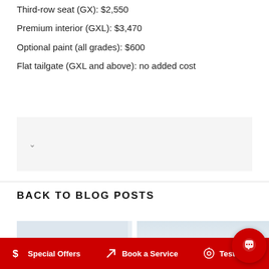Third-row seat (GX): $2,550
Premium interior (GXL): $3,470
Optional paint (all grades): $600
Flat tailgate (GXL and above): no added cost
BACK TO BLOG POSTS
[Figure (photo): Two blog post card thumbnails side by side; left card is light blue/grey, right card shows a vehicle silhouette against a sky with hills]
$ Special Offers   Book a Service   Test Drive